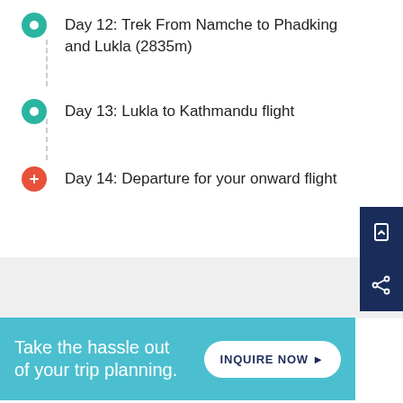Day 12: Trek From Namche to Phadking and Lukla (2835m)
Day 13: Lukla to Kathmandu flight
Day 14: Departure for your onward flight
Take the hassle out of your trip planning.
INQUIRE NOW ▶
Map
[Figure (map): Everest Base Camp Trek Route Map showing peaks including Pumori 7165m, Mt. Everest 8848m, Kalapather 5555m, Everest Base Camp 5350m, and Nuptse]